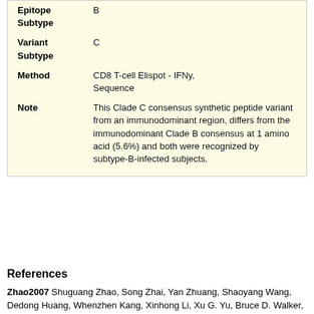| Field | Value |
| --- | --- |
| Epitope Subtype | B |
| Variant Subtype | C |
| Method | CD8 T-cell Elispot - IFNy, Sequence |
| Note | This Clade C consensus synthetic peptide variant from an immunodominant region, differs from the immunodominant Clade B consensus at 1 amino acid (5.6%) and both were recognized by subtype-B-infected subjects. |
References
Zhao2007 Shuguang Zhao, Song Zhai, Yan Zhuang, Shaoyang Wang, Dedong Huang, Whenzhen Kang, Xinhong Li, Xu G. Yu, Bruce D. Walker, Marcus A. Altfeld,